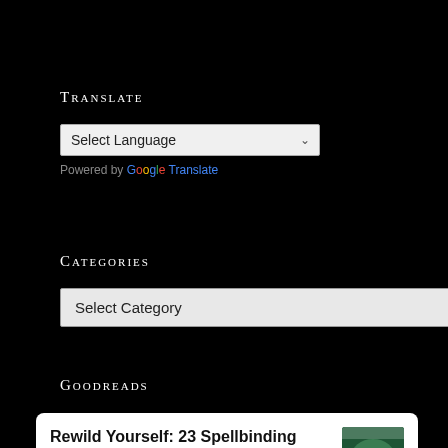Translate
Select Language
Powered by Google Translate
Categories
Select Category
Goodreads
Rewild Yourself: 23 Spellbinding Ways To Make Nature More Visible by Simon Barnes